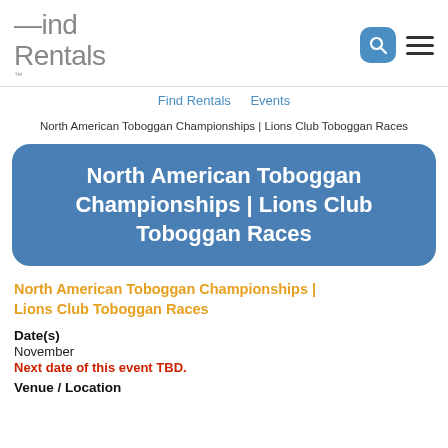Find Rentals
Find Rentals   Events
North American Toboggan Championships | Lions Club Toboggan Races
North American Toboggan Championships | Lions Club Toboggan Races
North American Toboggan Championships | Lions Club Toboggan Races
Date(s)
November
Next date of this event TBD.
Venue / Location